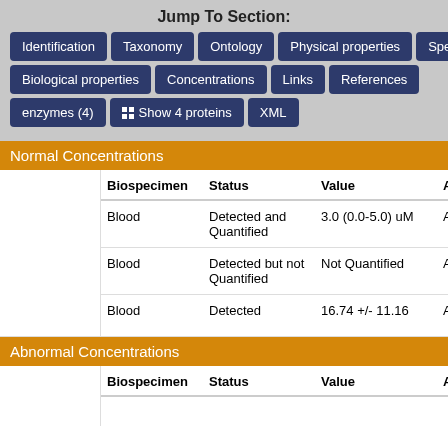Jump To Section:
Identification | Taxonomy | Ontology | Physical properties | Spectra
Biological properties | Concentrations | Links | References
enzymes (4) | Show 4 proteins | XML
Normal Concentrations
| Biospecimen | Status | Value | A |
| --- | --- | --- | --- |
| Blood | Detected and Quantified | 3.0 (0.0-5.0) uM | A y |
| Blood | Detected but not Quantified | Not Quantified | A y |
| Blood | Detected | 16.74 +/- 11.16 | A |
Abnormal Concentrations
| Biospecimen | Status | Value | Age |
| --- | --- | --- | --- |